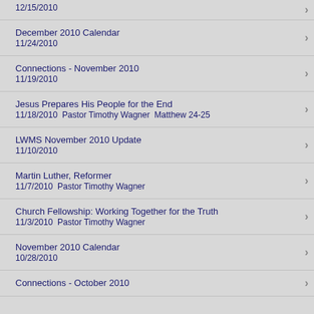12/15/2010
December 2010 Calendar
11/24/2010
Connections - November 2010
11/19/2010
Jesus Prepares His People for the End
11/18/2010  Pastor Timothy Wagner  Matthew 24-25
LWMS November 2010 Update
11/10/2010
Martin Luther, Reformer
11/7/2010  Pastor Timothy Wagner
Church Fellowship: Working Together for the Truth
11/3/2010  Pastor Timothy Wagner
November 2010 Calendar
10/28/2010
Connections - October 2010